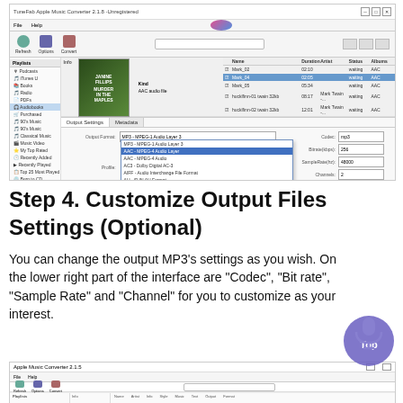[Figure (screenshot): TuneFab Apple Music Converter application window showing Output Settings with a dropdown menu open listing audio format options including MP3, AAC, AC3, AIFF, AU, FLAC, M4R, M4A. A file track_04 is selected in blue. Output format dropdown is expanded.]
Step 4. Customize Output Files Settings (Optional)
You can change the output MP3's settings as you wish. On the lower right part of the interface are "Codec", "Bit rate", "Sample Rate" and "Channel" for you to customize as your interest.
[Figure (screenshot): TuneFab Apple Music Converter application window showing main interface with file list and settings panels.]